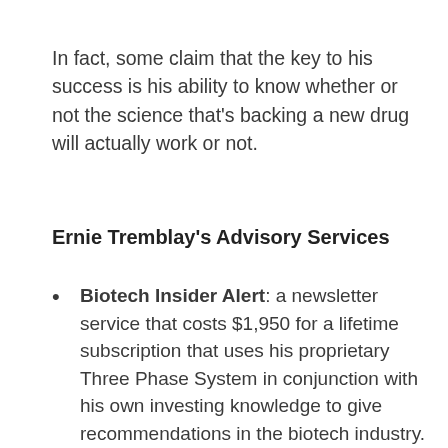In fact, some claim that the key to his success is his ability to know whether or not the science that’s backing a new drug will actually work or not.
Ernie Tremblay’s Advisory Services
Biotech Insider Alert: a newsletter service that costs $1,950 for a lifetime subscription that uses his proprietary Three Phase System in conjunction with his own investing knowledge to give recommendations in the biotech industry.